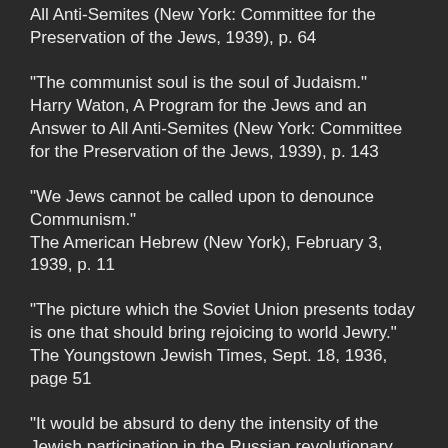All Anti-Semites (New York: Committee for the Preservation of the Jews, 1939), p. 64
“The communist soul is the soul of Judaism.” Harry Waton, A Program for the Jews and an Answer to All Anti-Semites (New York: Committee for the Preservation of the Jews, 1939), p. 143
“We Jews cannot be called upon to denounce Communism.” The American Hebrew (New York), February 3, 1939, p. 11
“The picture which the Soviet Union presents today is one that should bring rejoicing to world Jewry.” The Youngstown Jewish Times, Sept. 18, 1936, page 51
“It would be absurd to deny the intensity of the Jewish participation in the Russian revolutionary movement.” Leon Dennen, in The Menorah Journal (New York) July-